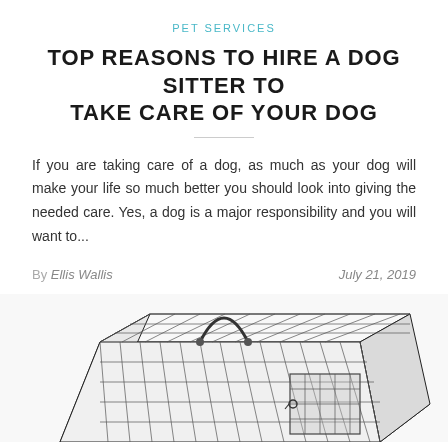PET SERVICES
TOP REASONS TO HIRE A DOG SITTER TO TAKE CARE OF YOUR DOG
If you are taking care of a dog, as much as your dog will make your life so much better you should look into giving the needed care. Yes, a dog is a major responsibility and you will want to...
By Ellis Wallis July 21, 2019
[Figure (photo): Wire animal cage/trap with a handle on top, photographed from a three-quarter angle showing the mesh grid construction.]